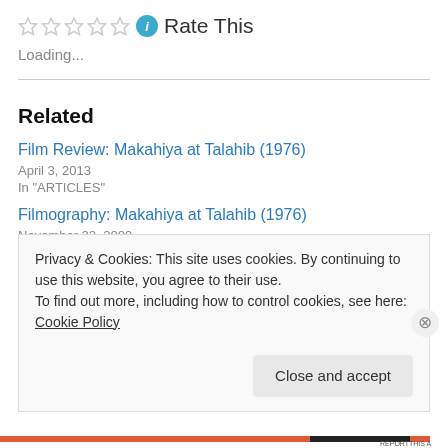[Figure (other): Five empty star rating icons followed by a blue info icon and 'Rate This' text]
Loading...
Related
Film Review: Makahiya at Talahib (1976)
April 3, 2013
In "ARTICLES"
Filmography: Makahiya at Talahib (1976)
November 22, 2009
Privacy & Cookies: This site uses cookies. By continuing to use this website, you agree to their use.
To find out more, including how to control cookies, see here: Cookie Policy